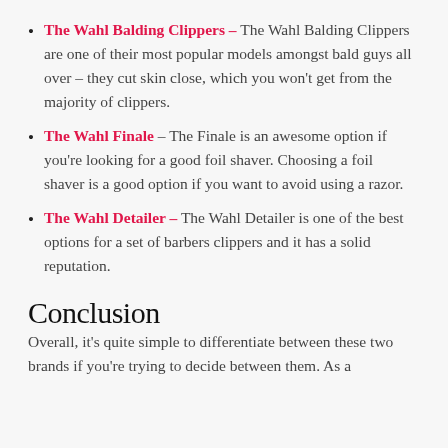The Wahl Balding Clippers – The Wahl Balding Clippers are one of their most popular models amongst bald guys all over – they cut skin close, which you won't get from the majority of clippers.
The Wahl Finale – The Finale is an awesome option if you're looking for a good foil shaver. Choosing a foil shaver is a good option if you want to avoid using a razor.
The Wahl Detailer – The Wahl Detailer is one of the best options for a set of barbers clippers and it has a solid reputation.
Conclusion
Overall, it's quite simple to differentiate between these two brands if you're trying to decide between them. As a